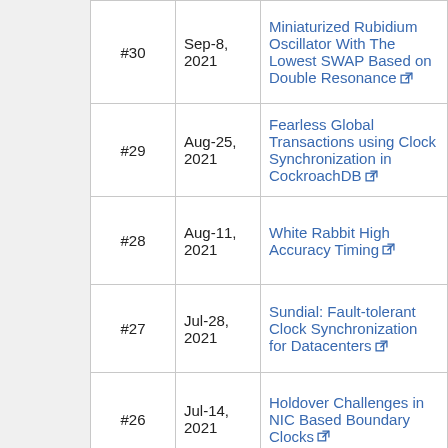| # | Date | Title |
| --- | --- | --- |
| #30 | Sep-8, 2021 | Miniaturized Rubidium Oscillator With The Lowest SWAP Based on Double Resonance |
| #29 | Aug-25, 2021 | Fearless Global Transactions using Clock Synchronization in CockroachDB |
| #28 | Aug-11, 2021 | White Rabbit High Accuracy Timing |
| #27 | Jul-28, 2021 | Sundial: Fault-tolerant Clock Synchronization for Datacenters |
| #26 | Jul-14, 2021 | Holdover Challenges in NIC Based Boundary Clocks |
| #25 | Jun-30, 2021 | GNSS Anti-Jamming and Spoof Mitigation |